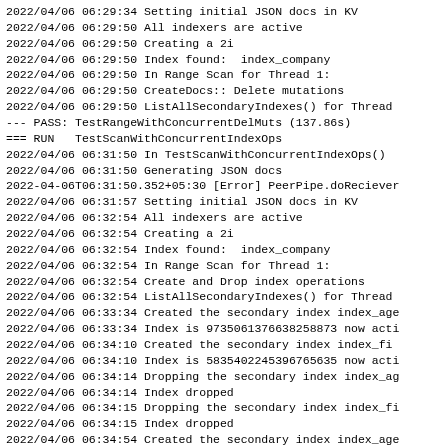2022/04/06 06:29:34 Setting initial JSON docs in KV
2022/04/06 06:29:50 All indexers are active
2022/04/06 06:29:50 Creating a 2i
2022/04/06 06:29:50 Index found:  index_company
2022/04/06 06:29:50 In Range Scan for Thread 1:
2022/04/06 06:29:50 CreateDocs:: Delete mutations
2022/04/06 06:29:50 ListAllSecondaryIndexes() for Thread
--- PASS: TestRangeWithConcurrentDelMuts (137.86s)
=== RUN   TestScanWithConcurrentIndexOps
2022/04/06 06:31:50 In TestScanWithConcurrentIndexOps()
2022/04/06 06:31:50 Generating JSON docs
2022-04-06T06:31:50.352+05:30 [Error] PeerPipe.doReciever
2022/04/06 06:31:57 Setting initial JSON docs in KV
2022/04/06 06:32:54 All indexers are active
2022/04/06 06:32:54 Creating a 2i
2022/04/06 06:32:54 Index found:  index_company
2022/04/06 06:32:54 In Range Scan for Thread 1:
2022/04/06 06:32:54 Create and Drop index operations
2022/04/06 06:32:54 ListAllSecondaryIndexes() for Thread
2022/04/06 06:33:34 Created the secondary index index_age
2022/04/06 06:33:34 Index is 9735061376638258873 now acti
2022/04/06 06:34:10 Created the secondary index index_fi
2022/04/06 06:34:10 Index is 5835402245396765635 now acti
2022/04/06 06:34:14 Dropping the secondary index index_ag
2022/04/06 06:34:14 Index dropped
2022/04/06 06:34:15 Dropping the secondary index index_fi
2022/04/06 06:34:15 Index dropped
2022/04/06 06:34:54 Created the secondary index index_age
2022/04/06 06:34:54 Index is 12746306232839233219 now acti
2022-04-06T06:34:54.759+05:30 [Error] PeerPipe.doReciever